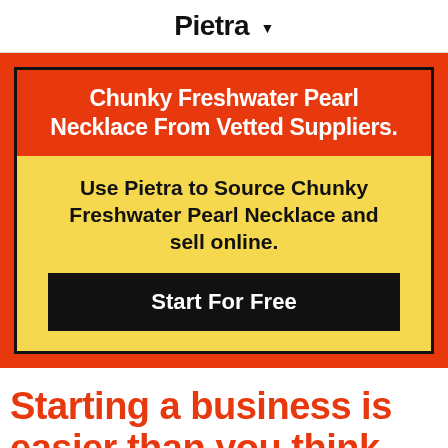Pietra ▾
Chunky Freshwater Pearl Necklace From Vetted Suppliers.
Use Pietra to Source Chunky Freshwater Pearl Necklace and sell online.
Start For Free
Starting a business is easier than you think. Start with Pietra